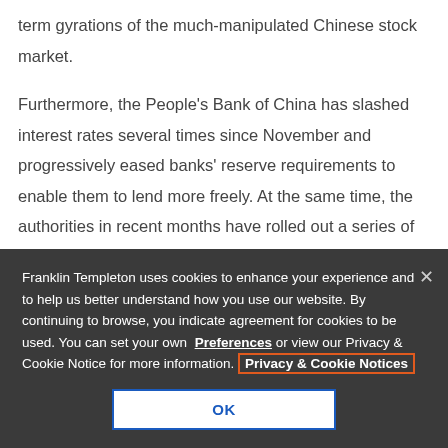... ts' than the short term gyrations of the much-manipulated Chinese stock market.

Furthermore, the People's Bank of China has slashed interest rates several times since November and progressively eased banks' reserve requirements to enable them to lend more freely. At the same time, the authorities in recent months have rolled out a series of tax breaks and
Franklin Templeton uses cookies to enhance your experience and to help us better understand how you use our website. By continuing to browse, you indicate agreement for cookies to be used. You can set your own Preferences or view our Privacy & Cookie Notice for more information. Privacy & Cookie Notices
OK